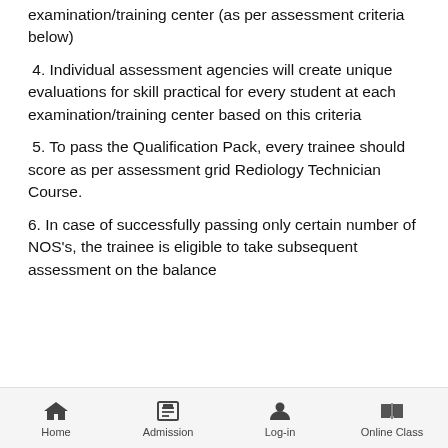examination/training center (as per assessment criteria below)
4. Individual assessment agencies will create unique evaluations for skill practical for every student at each examination/training center based on this criteria
5. To pass the Qualification Pack, every trainee should score as per assessment grid Rediology Technician Course.
6. In case of successfully passing only certain number of NOS's, the trainee is eligible to take subsequent assessment on the balance
Home  Admission  Log-in  Online Class